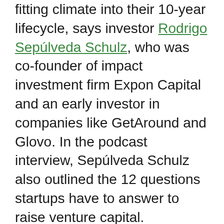fitting climate into their 10-year lifecycle, says investor Rodrigo Sepúlveda Schulz, who was co-founder of impact investment firm Expon Capital and an early investor in companies like GetAround and Glovo. In the podcast interview, Sepúlveda Schulz also outlined the 12 questions startups have to answer to raise venture capital.
**
A few key takeaways from Rodrigo Sepúlveda Schulz:
**
"There are a number of new funds coming up, focusing exclusively on Climate Technologies. It has a number of challenges, but it has to be done. First is the 10-year timeframe for a fund to return the money is maybe too short for those guys; maybe we